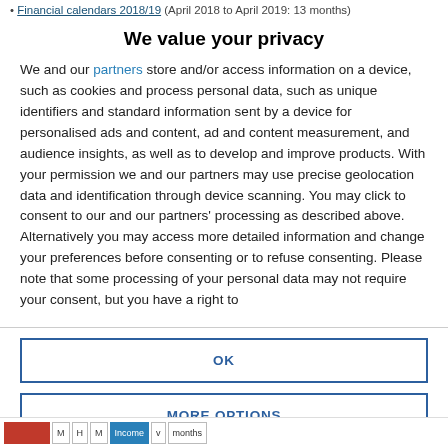Financial calendars 2018/19 (April 2018 to April 2019: 13 months)
We value your privacy
We and our partners store and/or access information on a device, such as cookies and process personal data, such as unique identifiers and standard information sent by a device for personalised ads and content, ad and content measurement, and audience insights, as well as to develop and improve products. With your permission we and our partners may use precise geolocation data and identification through device scanning. You may click to consent to our and our partners' processing as described above. Alternatively you may access more detailed information and change your preferences before consenting or to refuse consenting. Please note that some processing of your personal data may not require your consent, but you have a right to
OK
MORE OPTIONS